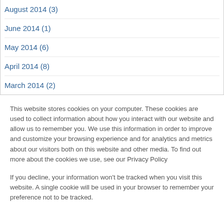August 2014 (3)
June 2014 (1)
May 2014 (6)
April 2014 (8)
March 2014 (2)
This website stores cookies on your computer. These cookies are used to collect information about how you interact with our website and allow us to remember you. We use this information in order to improve and customize your browsing experience and for analytics and metrics about our visitors both on this website and other media. To find out more about the cookies we use, see our Privacy Policy
If you decline, your information won't be tracked when you visit this website. A single cookie will be used in your browser to remember your preference not to be tracked.